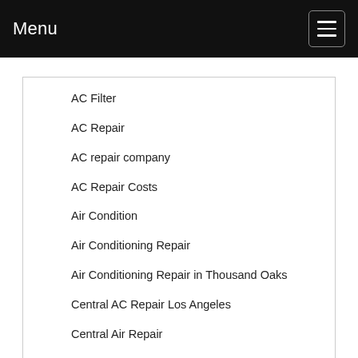Menu
AC Filter
AC Repair
AC repair company
AC Repair Costs
Air Condition
Air Conditioning Repair
Air Conditioning Repair in Thousand Oaks
Central AC Repair Los Angeles
Central Air Repair
Heating
HVAC
Licensed AC Installer
Professional AC service